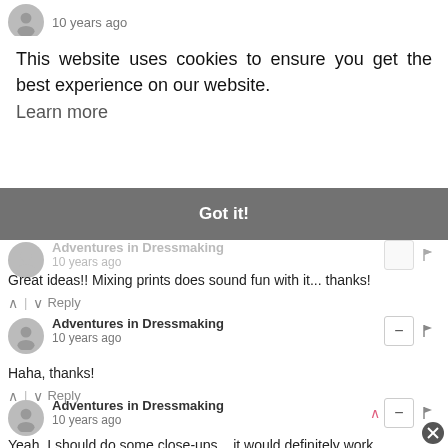10 years ago
This website uses cookies to ensure you get the best experience on our website. Learn more
Got it!
Adventures in Dressmaking
10 years ago
Great ideas!! Mixing prints does sound fun with it... thanks!
Adventures in Dressmaking
10 years ago
Haha, thanks!
Adventures in Dressmaking
10 years ago
Yeah, I should do some close-ups... it would definitely work well for prints to start to really show what's great for print...